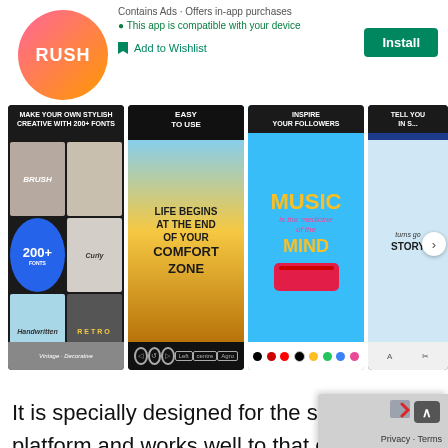[Figure (logo): Rush app logo - pink/orange circular logo with RUSH text]
Contains Ads · Offers in-app purchases
This app is compatible with your device
Add to Wishlist
[Figure (screenshot): App store screenshots showing font design app with 200+ fonts, motivational poster, music quote, and story templates]
It is specially designed for the social media platform and works well to that extent. If you are also interested to make a logo for your social media platforms like YouTube channel or an Instagram account, you are on the right r... It allows users to boast over 200 fonts on yo...